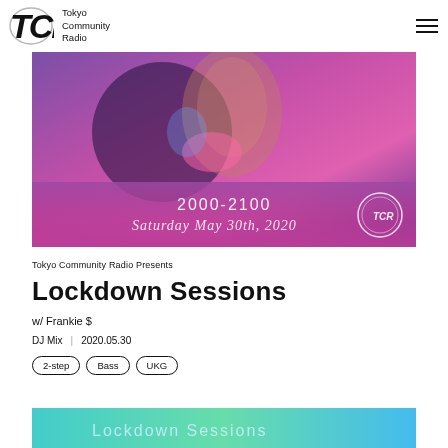Tokyo Community Radio
[Figure (photo): Promotional banner for Lockdown Sessions showing a close-up of a person under colorful purple/pink/teal lighting, with text overlay reading '2000-2100 Saturday May 30th, 2020' and TCR logo]
Tokyo Community Radio Presents
Lockdown Sessions
w/ Frankie $
DJ Mix  |  2020.05.30
2-step
Bass
UKG
[Figure (photo): Bottom banner with teal/cyan gradient background showing 'Lockdown Sessions' text in light color]